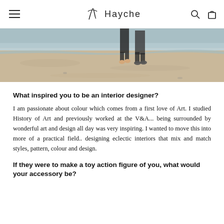Hayche
[Figure (photo): Beach scene showing two people walking along the shoreline with waves and sand visible.]
What inspired you to be an interior designer?
I am passionate about colour which comes from a first love of Art. I studied History of Art and previously worked at the V&A... being surrounded by wonderful art and design all day was very inspiring. I wanted to move this into more of a practical field.. designing eclectic interiors that mix and match styles, pattern, colour and design.
If they were to make a toy action figure of you, what would your accessory be?